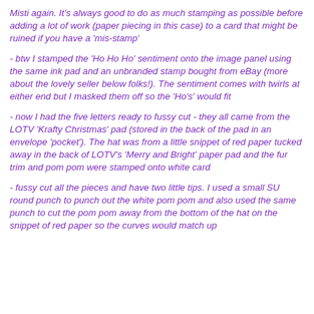Misti again. It's always good to do as much stamping as possible before adding a lot of work (paper piecing in this case) to a card that might be ruined if you have a 'mis-stamp'
- btw I stamped the 'Ho Ho Ho' sentiment onto the image panel using the same ink pad and an unbranded stamp bought from eBay (more about the lovely seller below folks!). The sentiment comes with twirls at either end but I masked them off so the 'Ho's' would fit
- now I had the five letters ready to fussy cut - they all came from the LOTV 'Krafty Christmas' pad (stored in the back of the pad in an envelope 'pocket'). The hat was from a little snippet of red paper tucked away in the back of LOTV's 'Merry and Bright' paper pad and the fur trim and pom pom were stamped onto white card
- fussy cut all the pieces and have two little tips. I used a small SU round punch to punch out the white pom pom and also used the same punch to cut the pom pom away from the bottom of the hat on the snippet of red paper so the curves would match up